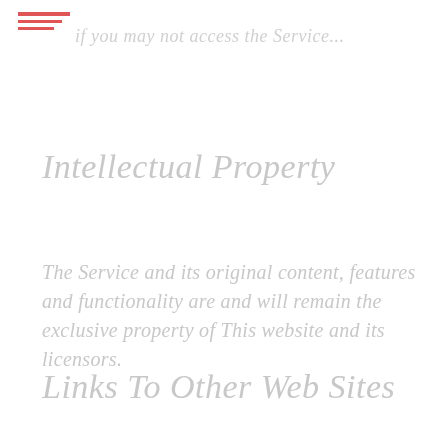if you may not access the Service...
Intellectual Property
The Service and its original content, features and functionality are and will remain the exclusive property of This website and its licensors.
Links To Other Web Sites
Our Service may contain links to third-party web sites or services that are not owned or controlled by This website.